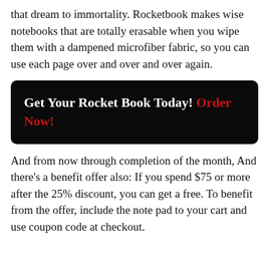that dream to immortality. Rocketbook makes wise notebooks that are totally erasable when you wipe them with a dampened microfiber fabric, so you can use each page over and over and over again.
Get Your Rocket Book Today! Order Now!
And from now through completion of the month, And there’s a benefit offer also: If you spend $75 or more after the 25% discount, you can get a free. To benefit from the offer, include the note pad to your cart and use coupon code at checkout.